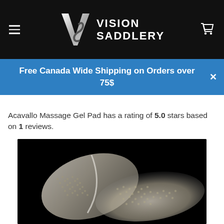[Figure (logo): Vision Saddlery logo with stylized V/S monogram and text 'VISION SADDLERY' on black background header with hamburger menu and cart icon]
Free Canada Wide Shipping on Orders over 75$
Acavallo Massage Gel Pad has a rating of 5.0 stars based on 1 reviews.
[Figure (photo): Product photo of Acavallo Massage Gel Pad on black background, showing a clear/translucent textured gel pad with honeycomb-like surface pattern]